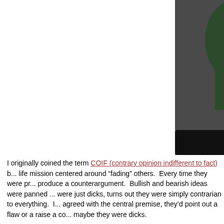[Figure (photo): Two men seated courtside at a basketball game. The man on the left wears a dark brown blazer over a black shirt and grey trousers; he is holding a smartphone. The man on the right wears a white shirt and cream trousers with a dark jacket.]
I originally coined the term COIF (contrary opinion indifferent to fact) b... life mission centered around "fading" others. Every time they were pr... produce a counterargument. Bullish and bearish ideas were panned ... were just dicks, turns out they were simply contrarian to everything. I... agreed with the central premise, they'd point out a flaw or a raise a co... maybe they were dicks.
Turns out there are others like this. I stumbled on an article by Gretch... phenomenon, but also gave it a name: oppositional conversational sty...